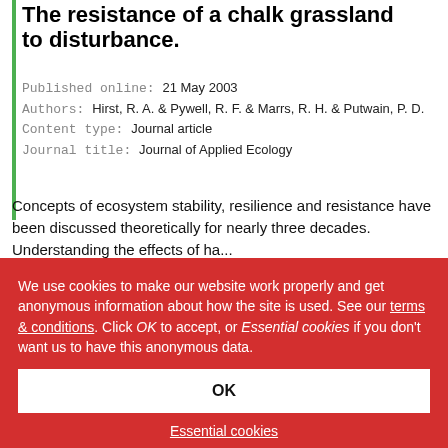The resistance of a chalk grassland to disturbance.
Published online: 21 May 2003
Authors: Hirst, R. A. & Pywell, R. F. & Marrs, R. H. & Putwain, P. D.
Content type: Journal article
Journal title: Journal of Applied Ecology
Concepts of ecosystem stability, resilience and resistance have been discussed theoretically for nearly three decades. Understanding the effects of ha...
READ MORE
We use cookies to make our website work properly and get anonymous information about how the site is used. See our terms & conditions. Click OK to accept, or Essential cookies if you don't want us to have this anonymous data.
OK
Essential cookies